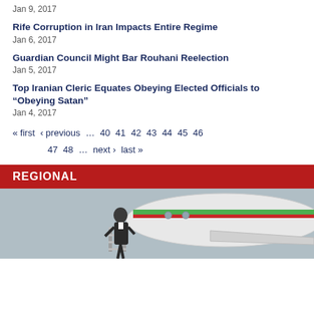Jan 9, 2017
Rife Corruption in Iran Impacts Entire Regime
Jan 6, 2017
Guardian Council Might Bar Rouhani Reelection
Jan 5, 2017
Top Iranian Cleric Equates Obeying Elected Officials to “Obeying Satan”
Jan 4, 2017
« first ‹ previous … 40 41 42 43 44 45 46 47 48 … next › last »
REGIONAL
[Figure (photo): Man in dark suit descending aircraft stairs from a plane with green/red stripe livery]